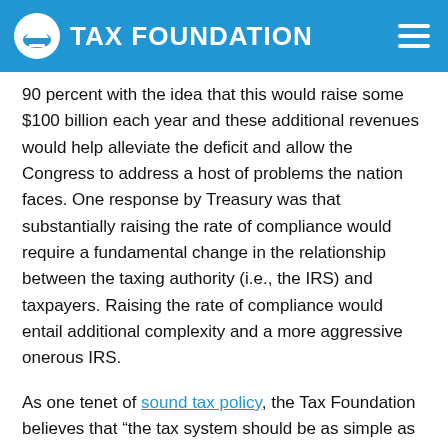TAX FOUNDATION
90 percent with the idea that this would raise some $100 billion each year and these additional revenues would help alleviate the deficit and allow the Congress to address a host of problems the nation faces. One response by Treasury was that substantially raising the rate of compliance would require a fundamental change in the relationship between the taxing authority (i.e., the IRS) and taxpayers. Raising the rate of compliance would entail additional complexity and a more aggressive onerous IRS.
As one tenet of sound tax policy, the Tax Foundation believes that “the tax system should be as simple as possible, and should minimize gratuitous complexity. The cost of tax compliance is a real cost to society, and complex taxes create perverse incentives to shelter and disguise legitimately earned income.”